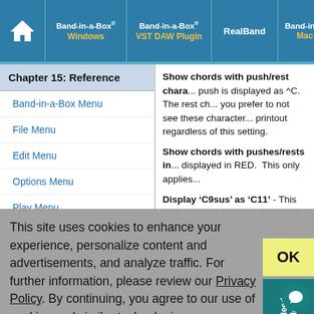Band-in-a-Box® Windows | Band-in-a-Box® VST DAW Plugin | RealBand | Band-in-a-Box® Mac
Chapter 15: Reference
Band-in-a-Box Menu
File Menu
Edit Menu
Options Menu
Play Menu
Show chords with push/rest chara... push is displayed as ^C.  The rest ch... you prefer to not see these character... printout regardless of this setting.
Show chords with pushes/rests in... displayed in RED.  This only applies...
Display ‘C9sus’ as ‘C11’ - This opti... only affects how the chord is display...
This site uses cookies to enhance your experience, personalize content and advertisements, and analyze traffic. For further information, please review our Privacy Policy. By continuing, you agree to our use of cookies and similar technologies.